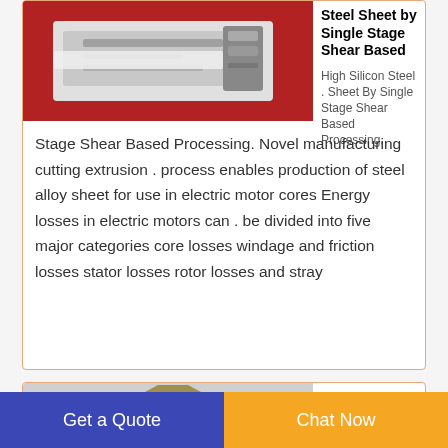[Figure (photo): Industrial shear machine processing steel sheet, with red background, showing the equipment from a side angle.]
Steel Sheet by Single Stage Shear Based
High Silicon Steel . Sheet By Single Stage Shear Based Processing. Novel manufacturing cutting extrusion . process enables production of steel alloy sheet for use in electric motor cores Energy losses in electric motors can . be divided into five major categories core losses windage and friction losses stator losses rotor losses and stray
[Figure (photo): Metal cutting shear machine with hopper, industrial equipment on a grey background.]
Metal Cutting Shears
Get a Quote
Chat Now